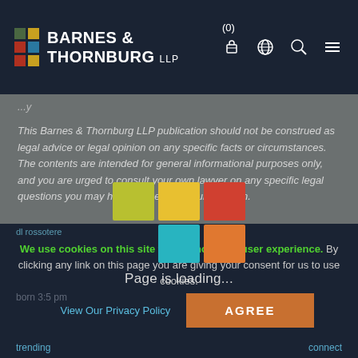Barnes & Thornburg LLP
This Barnes & Thornburg LLP publication should not be construed as legal advice or legal opinion on any specific facts or circumstances. The contents are intended for general informational purposes only, and you are urged to consult your own lawyer on any specific legal questions you may have concerning your situation.
Visit us online at www.btlaw.com and follow us on Twitter @BTLawNews.
[Figure (infographic): Barnes & Thornburg loading spinner with colored square grid and 'Page is loading...' text]
We use cookies on this site to enhance your user experience. By clicking any link on this page you are giving your consent for us to use cookies.
View Our Privacy Policy   AGREE